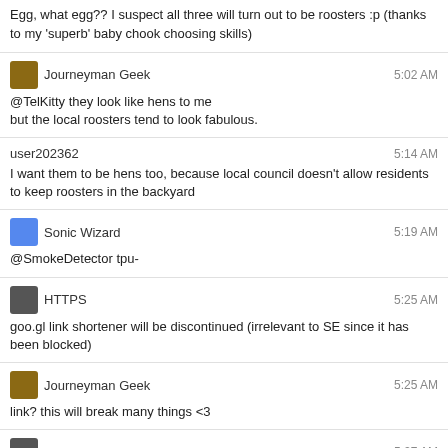Egg, what egg?? I suspect all three will turn out to be roosters :p (thanks to my 'superb' baby chook choosing skills)
Journeyman Geek 5:02 AM
@TelKitty they look like hens to me
but the local roosters tend to look fabulous.
user202362 5:14 AM
I want them to be hens too, because local council doesn't allow residents to keep roosters in the backyard
Sonic Wizard 5:19 AM
@SmokeDetector tpu-
HTTPS 5:25 AM
goo.gl link shortener will be discontinued (irrelevant to SE since it has been blocked)
Journeyman Geek 5:25 AM
link? this will break many things <3
HTTPS 5:27 AM
They are kind enough though, "all existing links will continue to redirect to the intended destination." (read more on Google Blog)
Journeyman Geek 5:32 AM
ah
less fun :p
@TelKitty oddly enough? We have more chickens wandering around than we should